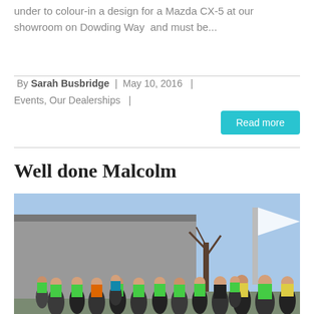under to colour-in a design for a Mazda CX-5 at our showroom on Dowding Way  and must be...
By Sarah Busbridge  |  May 10, 2016  |  Events, Our Dealerships  |
[Figure (other): Read more button — teal/cyan rounded rectangle]
Well done Malcolm
[Figure (photo): Group photo of runners in green and colourful athletic gear gathered outside a building on a clear day]
Well done Malcolm!!! Here at Invicta Tunbridge Wells we have our Credit Control and Account Assistant Malcolm who run a half marathon on Sunday for British Diabetes.  'I ran the Half in a